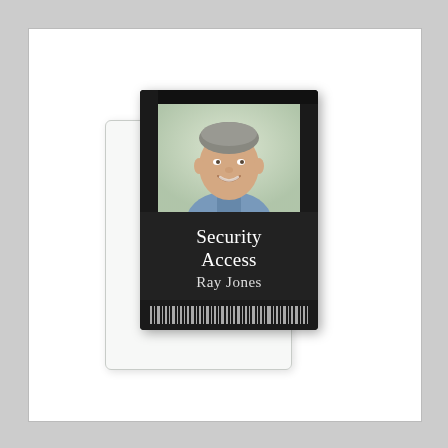[Figure (photo): A security access ID badge showing a smiling middle-aged man in a blue shirt, with 'Security Access Ray Jones' text and a barcode, partially overlapped by a clear plastic card holder/laminate sleeve.]